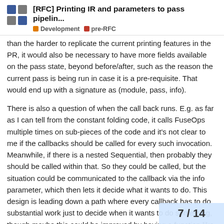[RFC] Printing IR and parameters to pass pipelin... Development pre-RFC
than the harder to replicate the current printing features in the PR, it would also be necessary to have more fields available on the pass state, beyond before/after, such as the reason the current pass is being run in case it is a pre-requisite. That would end up with a signature as (module, pass, info).
There is also a question of when the call back runs. E.g. as far as I can tell from the constant folding code, it calls FuseOps multiple times on sub-pieces of the code and it's not clear to me if the callbacks should be called for every such invocation. Meanwhile, if there is a nested Sequential, then probably they should be called within that. So they could be called, but the situation could be communicated to the callback via the info parameter, which then lets it decide what it wants to do. This design is leading down a path where every callback has to do substantial work just to decide when it wants to do something, though maybe this could be improved by having a function like IgnoreNested(foo) or BeforeOnly(foo) that takes a callback and returns a wrapped callback where nested calls are not passed on to the nested callback or on
7 / 14